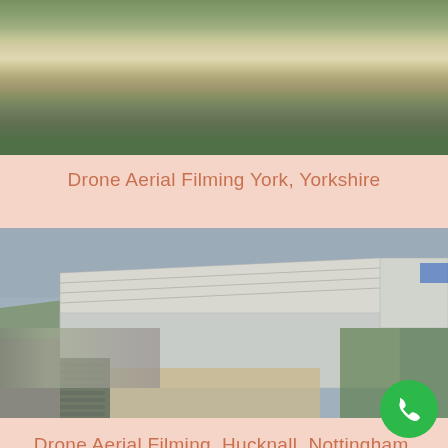[Figure (photo): Aerial drone photograph of York, Yorkshire showing residential buildings, green lawns, and brick architecture from above]
Drone Aerial Filming York, Yorkshire
[Figure (photo): Aerial drone photograph of a large industrial warehouse facility in Hucknall, Nottingham, Nottinghamshire, with car parks and construction area visible]
Drone Aerial Filming, Hucknall, Nottingham, Nottinghamshire.